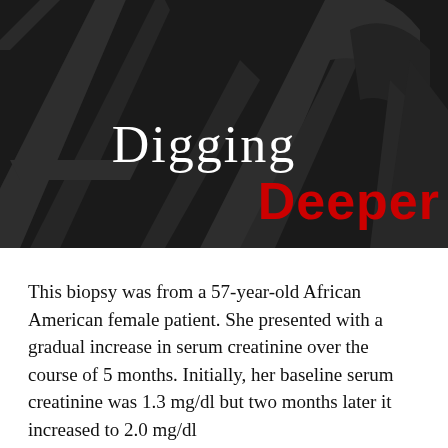[Figure (illustration): Dark hero banner with stylized large letter 'A' shapes in dark grey on black background, containing the title 'Digging Deeper' with 'Digging' in white serif font and 'Deeper' in bold red sans-serif font.]
Digging Deeper
This biopsy was from a 57-year-old African American female patient. She presented with a gradual increase in serum creatinine over the course of 5 months. Initially, her baseline serum creatinine was 1.3 mg/dl but two months later it increased to 2.0 mg/dl